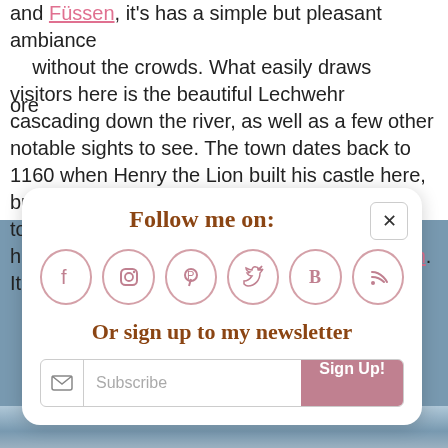and Füssen, it's has a simple but pleasant ambiance ore without the crowds. What easily draws visitors here is the beautiful Lechwehr cascading down the river, as well as a few other notable sights to see. The town dates back to 1160 when Henry the Lion built his castle here, but the towns is more renowned as being the town where Hitler was imprisoned following his attempted 1923 Beer Hall Putsch in Munich. It was here that he wrote his vile Mein
[Figure (screenshot): A popup modal box with 'Follow me on:' social media icons (Facebook, Instagram, Pinterest, Twitter, Bloglovin, RSS), 'Or sign up to my newsletter' text, and a Subscribe email input with Sign Up button.]